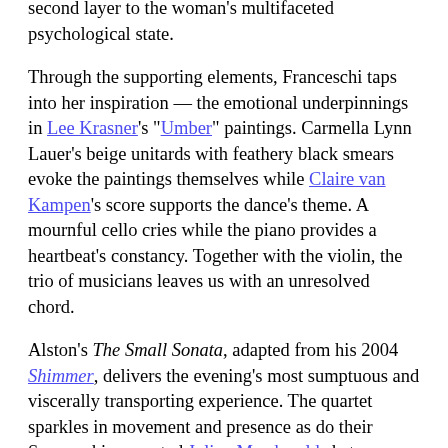second layer to the woman's multifaceted psychological state.
Through the supporting elements, Franceschi taps into her inspiration — the emotional underpinnings in Lee Krasner's "Umber" paintings. Carmella Lynn Lauer's beige unitards with feathery black smears evoke the paintings themselves while Claire van Kampen's score supports the dance's theme. A mournful cello cries while the piano provides a heartbeat's constancy. Together with the violin, the trio of musicians leaves us with an unresolved chord.
Alston's The Small Sonata, adapted from his 2004 Shimmer, delivers the evening's most sumptuous and viscerally transporting experience. The quartet sparkles in movement and presence as do their Swarovski-encrusted Julien Macdonald skater dresses. The movement quality contains principles of